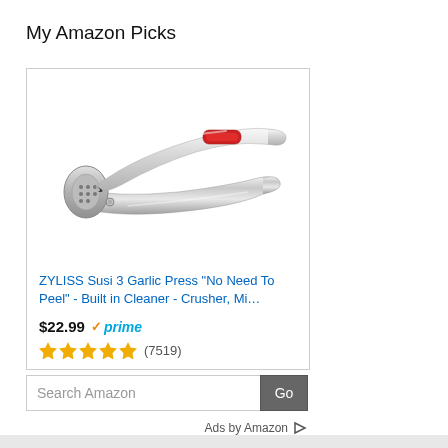My Amazon Picks
[Figure (photo): ZYLISS Susi 3 Garlic Press product photo showing a silver/chrome garlic press with red button]
ZYLISS Susi 3 Garlic Press "No Need To Peel" - Built in Cleaner - Crusher, Mi…
$22.99 ✓prime
★★★★★ (7519)
Search Amazon  Go
Ads by Amazon ▷